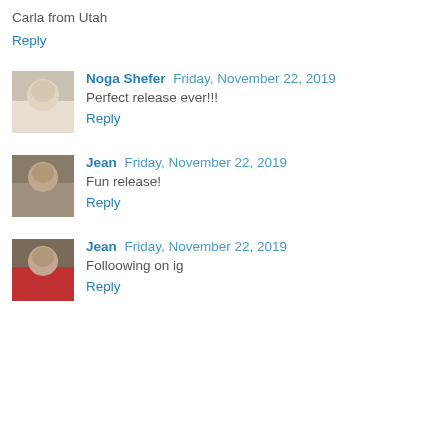Carla from Utah
Reply
Noga Shefer  Friday, November 22, 2019
Perfect release ever!!!
Reply
Jean  Friday, November 22, 2019
Fun release!
Reply
Jean  Friday, November 22, 2019
Folloowing on ig
Reply